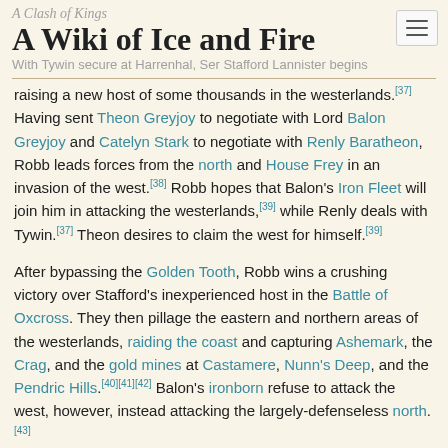A Clash of Kings
A Wiki of Ice and Fire
With Tywin secure at Harrenhal, Ser Stafford Lannister begins
raising a new host of some thousands in the westerlands.[37] Having sent Theon Greyjoy to negotiate with Lord Balon Greyjoy and Catelyn Stark to negotiate with Renly Baratheon, Robb leads forces from the north and House Frey in an invasion of the west.[38] Robb hopes that Balon's Iron Fleet will join him in attacking the westerlands,[39] while Renly deals with Tywin.[37] Theon desires to claim the west for himself.[39]
After bypassing the Golden Tooth, Robb wins a crushing victory over Stafford's inexperienced host in the Battle of Oxcross. They then pillage the eastern and northern areas of the westerlands, raiding the coast and capturing Ashemark, the Crag, and the gold mines at Castamere, Nunn's Deep, and the Pendric Hills.[40][41][42] Balon's ironborn refuse to attack the west, however, instead attacking the largely-defenseless north.[43]
Tywin is stopped at the Red Fork during the Battle of the Fords,[44] after which he and the Tyrells defeat Stannis Baratheon in the Battle of the Blackwater.[45]
A Storm of Swords